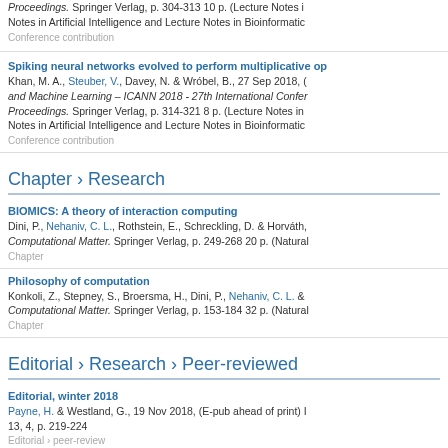Proceedings. Springer Verlag, p. 304-313 10 p. (Lecture Notes in Artificial Intelligence and Lecture Notes in Bioinformatics)
Conference contribution
Spiking neural networks evolved to perform multiplicative op
Khan, M. A., Steuber, V., Davey, N. & Wróbel, B., 27 Sep 2018, (...) Artificial Neural Networks and Machine Learning – ICANN 2018 - 27th International Conference – Proceedings. Springer Verlag, p. 314-321 8 p. (Lecture Notes in Artificial Intelligence and Lecture Notes in Bioinformatics)
Conference contribution
Chapter › Research
BIOMICS: A theory of interaction computing
Dini, P., Nehaniv, C. L., Rothstein, E., Schreckling, D. & Horváth, ... Computational Matter. Springer Verlag, p. 249-268 20 p. (Natural...)
Chapter
Philosophy of computation
Konkoli, Z., Stepney, S., Broersma, H., Dini, P., Nehaniv, C. L. & ... Computational Matter. Springer Verlag, p. 153-184 32 p. (Natural...)
Chapter
Editorial › Research › Peer-reviewed
Editorial, winter 2018
Payne, H. & Westland, G., 19 Nov 2018, (E-pub ahead of print) In: ... 13, 4, p. 219-224
Editorial › peer-review
Lowering the risk of stroke prevention: Managing bleeding c
Gorog, D., 3 Jul 2018, (E-pub ahead of print) In: International Jo...